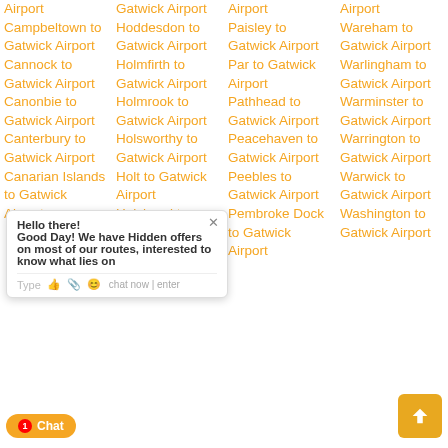Airport
Campbeltown to Gatwick Airport
Cannock to Gatwick Airport
Canonbie to Gatwick Airport
Canterbury to Gatwick Airport
Gatwick Airport
Gatwick Airport
Gatwick Airport to Gatwick Airport
Holdesdon to Gatwick Airport
Holmfirth to Gatwick Airport
Holmrook to Gatwick Airport
Holsworthy to Gatwick Airport
Holt to Gatwick Airport
Holyhead to Gatwick Airport
Airport
Paisley to Gatwick Airport
Par to Gatwick Airport
Pathhead to Gatwick Airport
Peacehaven to Gatwick Airport
Peebles to Gatwick Airport
Pembroke Dock to Gatwick Airport
Airport
Wareham to Gatwick Airport
Warlingham to Gatwick Airport
Warminster to Gatwick Airport
Warrington to Gatwick Airport
Warwick to Gatwick Airport
Washington to Gatwick Airport